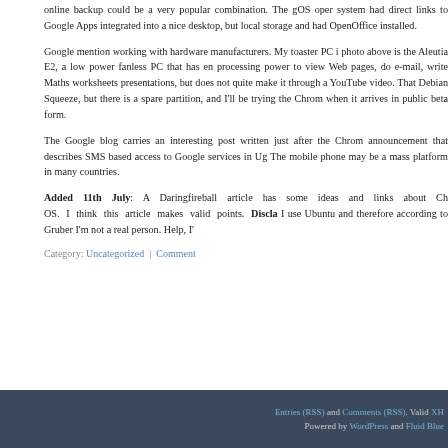online backup could be a very popular combination. The gOS operating system had direct links to Google Apps integrated into a nice desktop, but local storage and had OpenOffice installed.
Google mention working with hardware manufacturers. My toaster PC in the photo above is the Aleutia E2, a low power fanless PC that has enough processing power to view Web pages, do e-mail, write Maths worksheets and presentations, but does not quite make it through a YouTube video. That runs Debian Squeeze, but there is a spare partition, and I'll be trying the Chrome OS when it arrives in public beta form.
The Google blog carries an interesting post written just after the Chrome OS announcement that describes SMS based access to Google services in Uganda. The mobile phone may be a mass platform in many countries.
Added 11th July: A Daringfireball article has some ideas and links about Chrome OS. I think this article makes valid points. Disclaimer: I use Ubuntu and therefore according to Gruber I'm not a real person. Help, I'm...
Category: Uncategorized | Comment
Entries (RSS) and Comments (RSS). Valid XHTML. Powered by WordPress and Fluid Blue